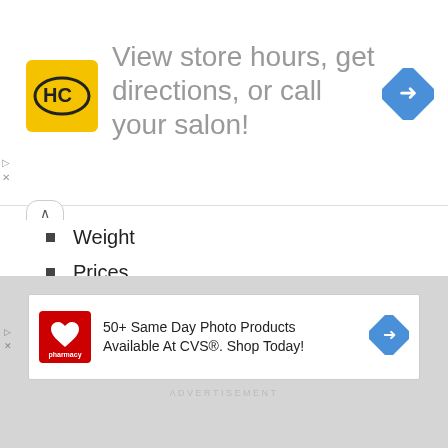[Figure (other): Advertisement banner: HC salon logo, text 'View store hours, get directions, or call your salon!', blue navigation arrow icon]
Weight
Prices
Autonomy
Trunk volume
Also read on auto-moto.com:
BMW 5 Series vs Audi A6 vs Mercedes E-Class
[Figure (other): CVS pharmacy advertisement: '50+ Same Day Photo Products Available At CVS®. Shop Today!' with CVS logo and blue navigation arrow icon]